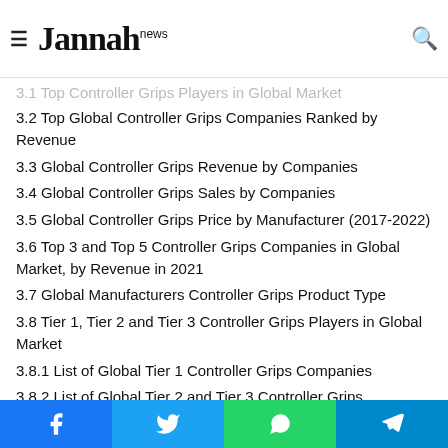Jannah news
3.1 Top Controller Grips Players in Global Market
3.2 Top Global Controller Grips Companies Ranked by Revenue
3.3 Global Controller Grips Revenue by Companies
3.4 Global Controller Grips Sales by Companies
3.5 Global Controller Grips Price by Manufacturer (2017-2022)
3.6 Top 3 and Top 5 Controller Grips Companies in Global Market, by Revenue in 2021
3.7 Global Manufacturers Controller Grips Product Type
3.8 Tier 1, Tier 2 and Tier 3 Controller Grips Players in Global Market
3.8.1 List of Global Tier 1 Controller Grips Companies
3.8.2 List of Global Tier 2 and Tier 3 Controller Grips Companies
Facebook Twitter WhatsApp Telegram